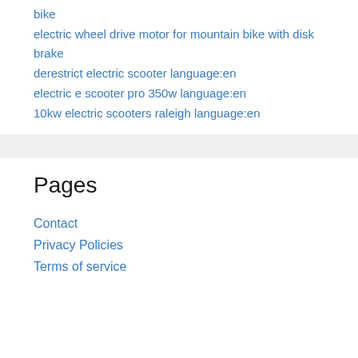bike
electric wheel drive motor for mountain bike with disk brake
derestrict electric scooter language:en
electric e scooter pro 350w language:en
10kw electric scooters raleigh language:en
Pages
Contact
Privacy Policies
Terms of service